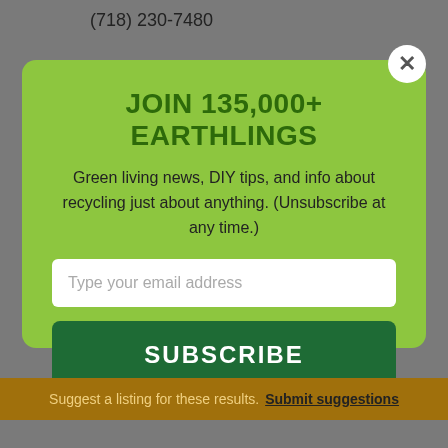(718) 230-7480
JOIN 135,000+ EARTHLINGS
Green living news, DIY tips, and info about recycling just about anything. (Unsubscribe at any time.)
Type your email address
SUBSCRIBE
Suggest a listing for these results. Submit suggestions